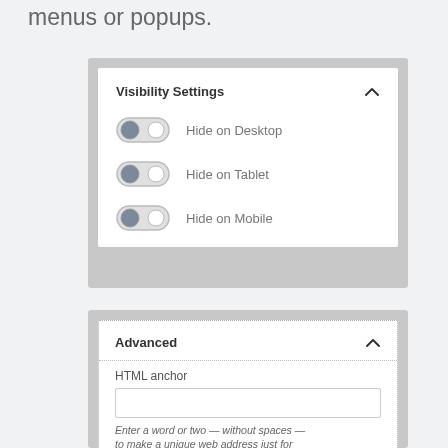menus or popups.
[Figure (screenshot): Visibility Settings panel showing three toggle switches: Hide on Desktop, Hide on Tablet, Hide on Mobile — all toggled to the left (off). Panel has a collapse chevron in top right.]
[Figure (screenshot): Advanced settings panel with dotted border, showing HTML anchor label, an empty text input field, and italic helper text: 'Enter a word or two — without spaces — to make a unique web address just for']